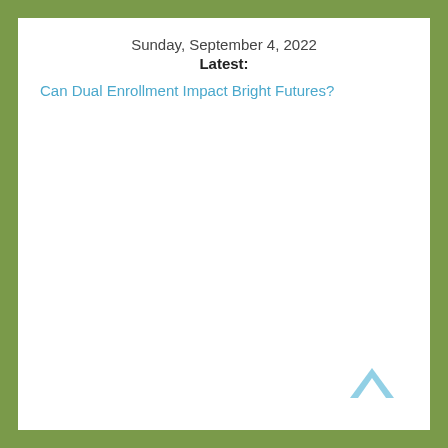Sunday, September 4, 2022
Latest:
Can Dual Enrollment Impact Bright Futures?